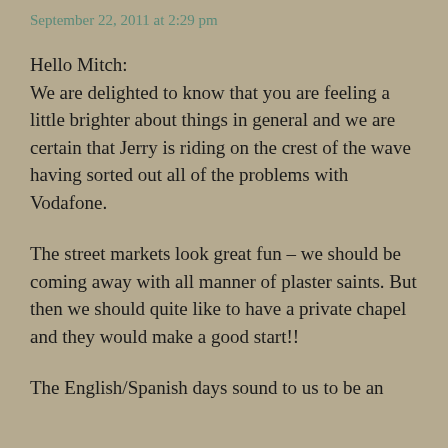September 22, 2011 at 2:29 pm
Hello Mitch:
We are delighted to know that you are feeling a little brighter about things in general and we are certain that Jerry is riding on the crest of the wave having sorted out all of the problems with Vodafone.
The street markets look great fun – we should be coming away with all manner of plaster saints. But then we should quite like to have a private chapel and they would make a good start!!
The English/Spanish days sound to us to be an